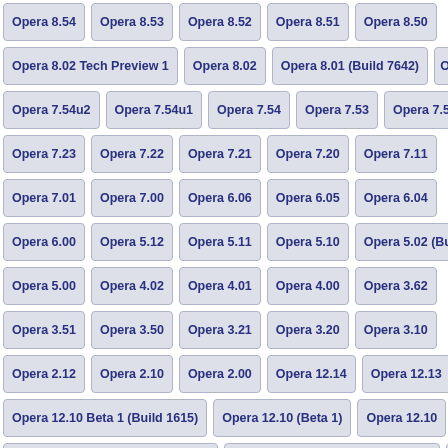Opera 8.54
Opera 8.53
Opera 8.52
Opera 8.51
Opera 8.50
Opera 8.02 Tech Preview 1
Opera 8.02
Opera 8.01 (Build 7642)
Opera 7.54u2
Opera 7.54u1
Opera 7.54
Opera 7.53
Opera 7.52
Opera 7.23
Opera 7.22
Opera 7.21
Opera 7.20
Opera 7.11
Opera 7.01
Opera 7.00
Opera 6.06
Opera 6.05
Opera 6.04
Opera 6.00
Opera 5.12
Opera 5.11
Opera 5.10
Opera 5.02 (Bu...
Opera 5.00
Opera 4.02
Opera 4.01
Opera 4.00
Opera 3.62
Opera 3.51
Opera 3.50
Opera 3.21
Opera 3.20
Opera 3.10
Opera 2.12
Opera 2.10
Opera 2.00
Opera 12.14
Opera 12.13
Opera 12.10 Beta 1 (Build 1615)
Opera 12.10 (Beta 1)
Opera 12.10
Opera 12.00 Build 1387 Snapshot
Opera 12.00 Build 1383 Snapshot
Opera 12.00 Build 1360 Snapshot
Opera 12.00 Build 1351 Snapshot
Opera 12.00 Beta 1 (Build 1387)
Opera 12.00 (Beta 1) (x64)
Opera 12.0...
Opera 11.62
Opera 11.61
Opera 11.60 Beta 1 (Build 1147)
Opera 11.51
Opera 11.50 Beta 1 (Build 1027)
Opera 11.50 (Beta)